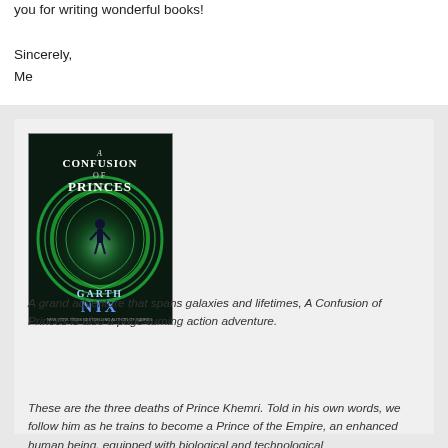you for writing wonderful books!
Sincerely,
Me
[Figure (illustration): Book cover of 'A Confusion of Princes' by Garth Nix, showing a figure in a glowing green circular energy field against a dark background.]
A grand adventure that spans galaxies and lifetimes, A Confusion of Princes is also a page-turning action adventure.
These are the three deaths of Prince Khemri. Told in his own words, we follow him as he trains to become a Prince of the Empire, an enhanced human being, equipped with biological and technological